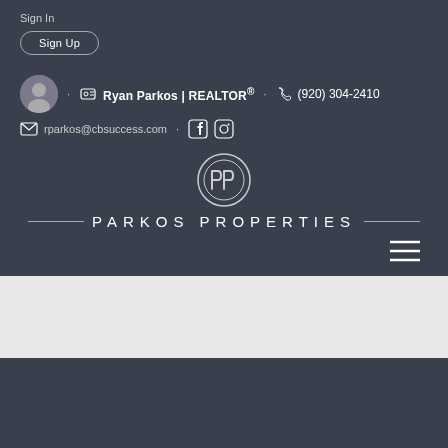Sign In
Sign Up
Ryan Parkos | REALTOR® · (920) 304-2410
rparkos@cbsuccess.com
[Figure (logo): Parkos Properties logo — circular PP monogram above the text PARKOS PROPERTIES with decorative horizontal lines flanking the text]
[Figure (other): Hamburger menu icon (three horizontal lines)]